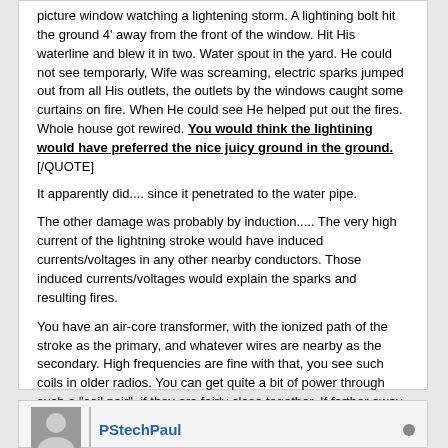picture window watching a lightening storm. A lightining bolt hit the ground 4' away from the front of the window. Hit His waterline and blew it in two. Water spout in the yard. He could not see temporarly, Wife was screaming, electric sparks jumped out from all His outlets, the outlets by the windows caught some curtains on fire. When He could see He helped put out the fires. Whole house got rewired. You would think the lightining would have preferred the nice juicy ground in the ground.[/QUOTE]
It apparently did.... since it penetrated to the water pipe.
The other damage was probably by induction..... The very high current of the lightning stroke would have induced currents/voltages in any other nearby conductors. Those induced currents/voltages would explain the sparks and resulting fires.
You have an air-core transformer, with the ionized path of the stroke as the primary, and whatever wires are nearby as the secondary. High frequencies are fine with that, you see such coils in older radios. You can get quite a bit of power through such a "coil pair", if they are fairly close together. If farther away, the effectiveness of the coupling is less, induced voltages etc are less, and may be non-damaging.
CNC machines only go through the motions
PStechPaul